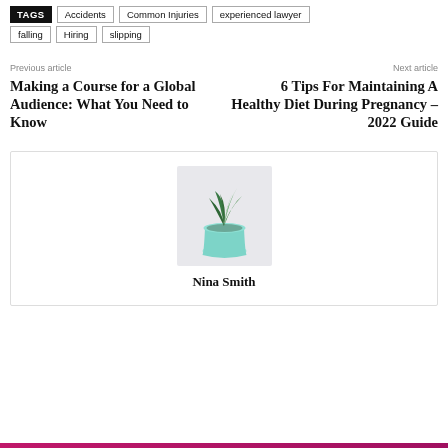TAGS  Accidents  Common Injuries  experienced lawyer  falling  Hiring  slipping
Previous article
Next article
Making a Course for a Global Audience: What You Need to Know
6 Tips For Maintaining A Healthy Diet During Pregnancy – 2022 Guide
[Figure (photo): Small succulent plant in a mint/teal colored pot on a light background]
Nina Smith